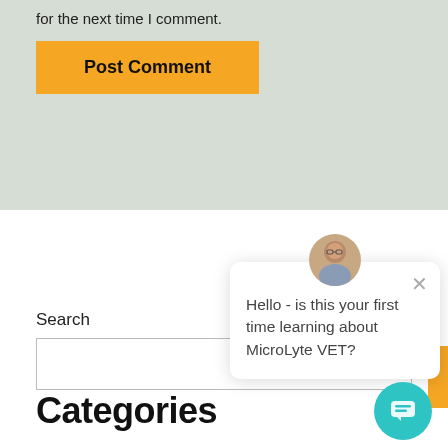for the next time I comment.
Post Comment
Search
Hello - is this your first time learning about MicroLyte VET?
Categories